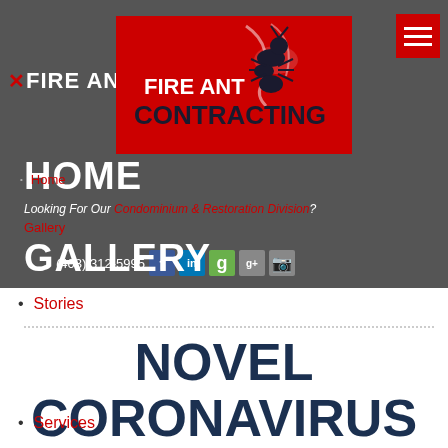[Figure (logo): Fire Ant Contracting logo on red background with ant mascot and text FIRE ANT CONTRACTING]
✕FIRE ANT
HOME
Looking For Our Condominium & Restoration Division?
Home
Gallery
GALLERY
(403) 312-5995
Stories
NOVEL CORONAVIRUS
Services